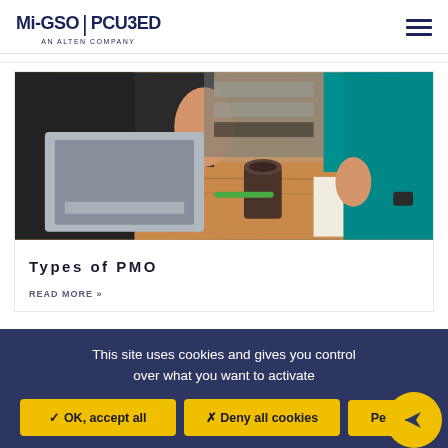Mi-GSO | PCU3ED AN ALTEN COMPANY
[Figure (photo): Two people standing at a wooden desk; one in a dark top holding a small object, a laptop visible to the left; the other in teal top writing on paper; a coffee cup on the desk]
Types of PMO
READ MORE »
This site uses cookies and gives you control over what you want to activate
✓ OK, accept all
✗ Deny all cookies
Perso...